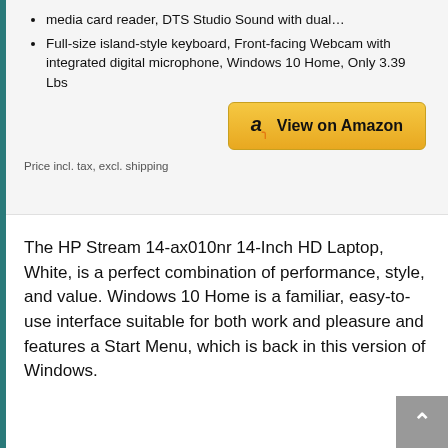media card reader, DTS Studio Sound with dual…
Full-size island-style keyboard, Front-facing Webcam with integrated digital microphone, Windows 10 Home, Only 3.39 Lbs
Price incl. tax, excl. shipping
The HP Stream 14-ax010nr 14-Inch HD Laptop, White, is a perfect combination of performance, style, and value. Windows 10 Home is a familiar, easy-to-use interface suitable for both work and pleasure and features a Start Menu, which is back in this version of Windows.